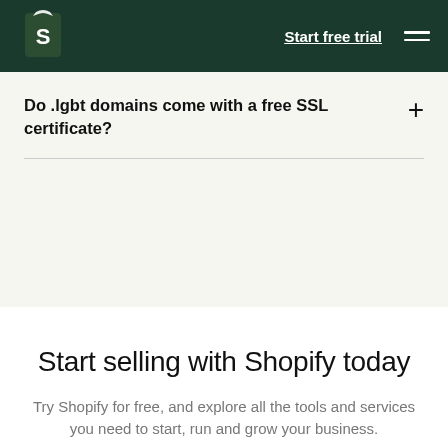Shopify — Start free trial
Do .lgbt domains come with a free SSL certificate?
Start selling with Shopify today
Try Shopify for free, and explore all the tools and services you need to start, run and grow your business.